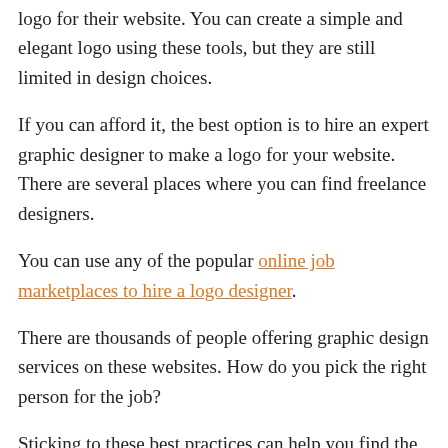logo for their website. You can create a simple and elegant logo using these tools, but they are still limited in design choices.
If you can afford it, the best option is to hire an expert graphic designer to make a logo for your website. There are several places where you can find freelance designers.
You can use any of the popular online job marketplaces to hire a logo designer.
There are thousands of people offering graphic design services on these websites. How do you pick the right person for the job?
Sticking to these best practices can help you find the perfect candidate…